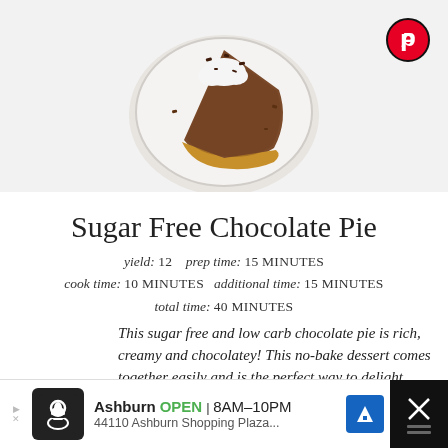[Figure (photo): A slice of chocolate pie on a white plate with whipped cream and chocolate shavings on top, overhead shot on light marble surface]
Sugar Free Chocolate Pie
yield: 12   prep time: 15 MINUTES
cook time: 10 MINUTES   additional time: 15 MINUTES
total time: 40 MINUTES
This sugar free and low carb chocolate pie is rich, creamy and chocolatey! This no-bake dessert comes together easily and is the perfect way to delight your sweet tooth while sticking to your health goals!
[Figure (other): Advertisement banner: Ashburn OPEN 8AM-10PM, 44110 Ashburn Shopping Plaza...]